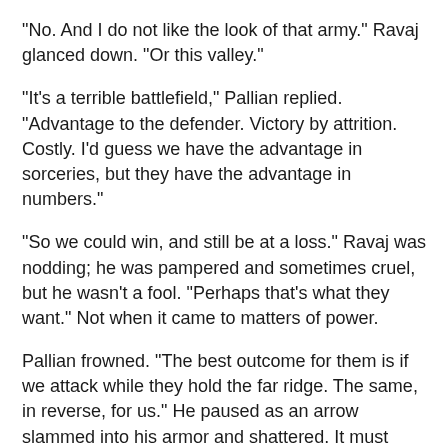"No. And I do not like the look of that army." Ravaj glanced down. "Or this valley."
"It's a terrible battlefield," Pallian replied. "Advantage to the defender. Victory by attrition. Costly. I'd guess we have the advantage in sorceries, but they have the advantage in numbers."
"So we could win, and still be at a loss." Ravaj was nodding; he was pampered and sometimes cruel, but he wasn't a fool. "Perhaps that's what they want." Not when it came to matters of power.
Pallian frowned. "The best outcome for them is if we attack while they hold the far ridge. The same, in reverse, for us." He paused as an arrow slammed into his armor and shattered. It must have been ensorceled, to fly so far; but his armor was their father's work, an extension of his strength, and Pallian had yet to find anything that could pierce it.
A second arrow tangled itself in his brother's sorcerous